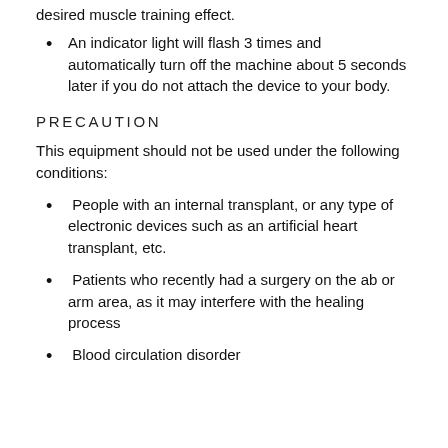desired muscle training effect.
An indicator light will flash 3 times and automatically turn off the machine about 5 seconds later if you do not attach the device to your body.
PRECAUTION
This equipment should not be used under the following conditions:
People with an internal transplant, or any type of electronic devices such as an artificial heart transplant, etc.
Patients who recently had a surgery on the ab or arm area, as it may interfere with the healing process
Blood circulation disorder